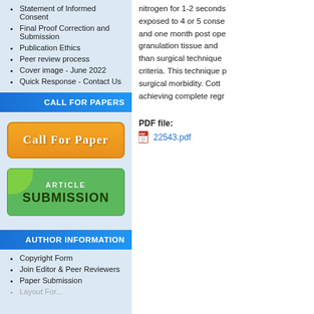Statement of Informed Consent
Final Proof Correction and Submission
Publication Ethics
Peer review process
Cover image - June 2022
Quick Response - Contact Us
CALL FOR PAPERS
[Figure (other): Orange Call For Paper button]
[Figure (other): Green Article Submission button]
AUTHOR INFORMATION
Copyright Form
Join Editor & Peer Reviewers
Paper Submission
nitrogen for 1-2 seconds exposed to 4 or 5 conse and one month post ope granulation tissue and than surgical technique criteria. This technique p surgical morbidity. Cott achieving complete regr
PDF file:
22543.pdf